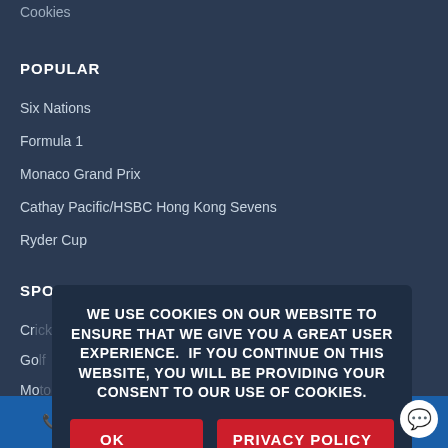Cookies
POPULAR
Six Nations
Formula 1
Monaco Grand Prix
Cathay Pacific/HSBC Hong Kong Sevens
Ryder Cup
SPORTS
Cr...
Go...
Mo...
Rugby
Tennis
[Figure (screenshot): Cookie consent dialog overlay with message: WE USE COOKIES ON OUR WEBSITE TO ENSURE THAT WE GIVE YOU A GREAT USER EXPERIENCE. IF YOU CONTINUE ON THIS WEBSITE, YOU WILL BE PROVIDING YOUR CONSENT TO OUR USE OF COOKIES. With two red buttons: OK and PRIVACY POLICY]
Call us   Contact us   Sign up